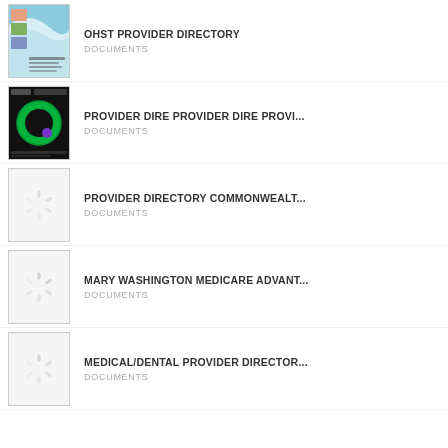OHST PROVIDER DIRECTORY
DOCUMENTS
PROVIDER DIRE PROVIDER DIRE PROVI...
DOCUMENTS
PROVIDER DIRECTORY COMMONWEALT...
DOCUMENTS
MARY WASHINGTON MEDICARE ADVANT...
DOCUMENTS
MEDICAL/DENTAL PROVIDER DIRECTOR...
DOCUMENTS